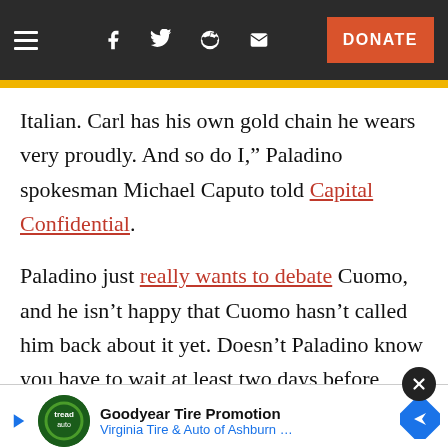Navigation bar with hamburger menu, Facebook, Twitter, Reddit, email icons and DONATE button
Italian. Carl has his own gold chain he wears very proudly. And so do I,” Paladino spokesman Michael Caputo told Capital Confidential.
Paladino just really wants to debate Cuomo, and he isn’t happy that Cuomo hasn’t called him back about it yet. Doesn’t Paladino know you have to wait at least two days before calling back? But while Cuomo hasn’t responded yet, Conservative Party Chairman Michael Long, who backed Rick Lazio in the GOP prima... more of a ca...
[Figure (screenshot): Advertisement banner: Goodyear Tire Promotion - Virginia Tire & Auto of Ashburn, with play button, Tread Auto logo, and navigation/direction icon]